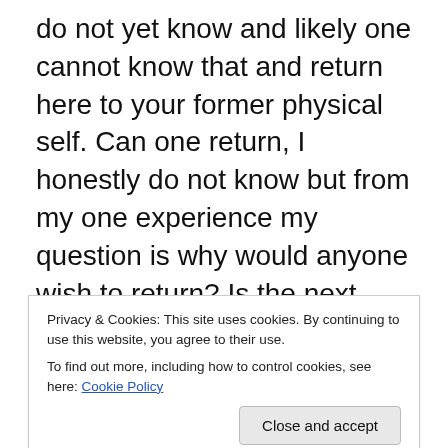do not yet know and likely one cannot know that and return here to your former physical self. Can one return, I honestly do not know but from my one experience my question is why would anyone wish to return? Is the next realm our final place or is there something beyond that where we would later transgress into? I cannot answer that any more than a zygote can fathom the life ahead of them and eventual death. The closest I ever found myself was as a potential seed about to be planted to grow in the next realm. By planted I do not in any way imply anchored as tour spirit, your next self, is free to do as it pleases
Privacy & Cookies: This site uses cookies. By continuing to use this website, you agree to their use. To find out more, including how to control cookies, see here: Cookie Policy
absolute form or restriction or location as you can